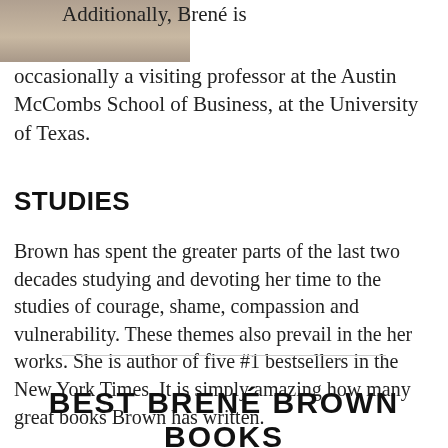[Figure (photo): Partial photo of Brené Brown in the top-left corner, showing her wearing a red necklace]
Additionally, Brené is occasionally a visiting professor at the Austin McCombs School of Business, at the University of Texas.
STUDIES
Brown has spent the greater parts of the last two decades studying and devoting her time to the studies of courage, shame, compassion and vulnerability. These themes also prevail in the her works. She is author of five #1 bestsellers in the New York Times. It is simply amazing how many great books Brown has written.
BEST BRENÉ BROWN BOOKS